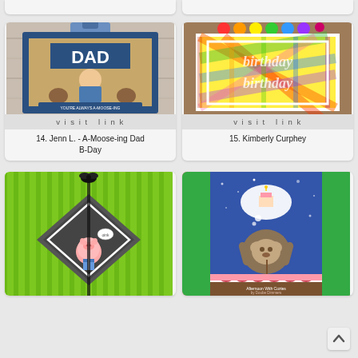[Figure (photo): Card showing 'DAD' text with moose characters, on clipboard style mount with 'visit link' overlay]
14. Jenn L. - A-Moose-ing Dad B-Day
[Figure (photo): Rainbow plaid birthday card with embossed 'birthday' text, with 'visit link' overlay]
15. Kimberly Curphey
[Figure (photo): Card with pig character on green striped background with black diamond shape and bow]
[Figure (photo): Card with sloth character dreaming of cake, with striped and curtain border elements]